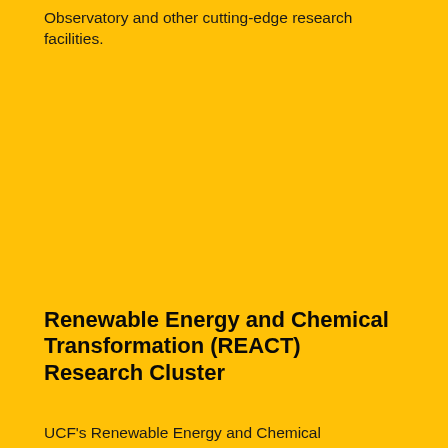Observatory and other cutting-edge research facilities.
Renewable Energy and Chemical Transformation (REACT) Research Cluster
UCF's Renewable Energy and Chemical